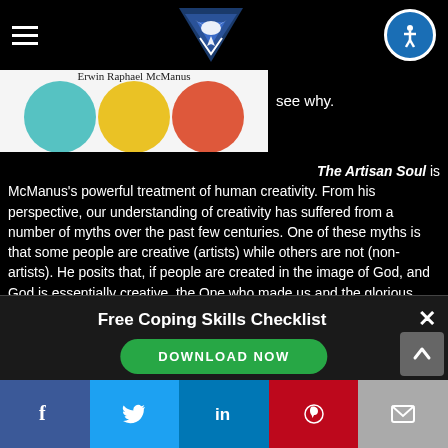[Figure (screenshot): Website navigation bar with hamburger menu icon on left, blue shield/bird logo in center, and blue accessibility icon on right, on black background]
[Figure (photo): Book cover for The Artisan Soul by Erwin Raphael McManus showing three colored circles (teal, yellow, red) on white background]
see why.
The Artisan Soul is McManus’s powerful treatment of human creativity. From his perspective, our understanding of creativity has suffered from a number of myths over the past few centuries. One of these myths is that some people are creative (artists) while others are not (non-artists). He posits that, if people are created in the image of God, and God is essentially creative, the One who made us and the glorious world around us, then doesn’t it stand to reason that all of us humans are essentially creative at our core? This is the concept of the artisan soul, that each human
Free Coping Skills Checklist
DOWNLOAD NOW
[Figure (screenshot): Social media share bar at bottom with Facebook, Twitter, LinkedIn, Pinterest, and email buttons]